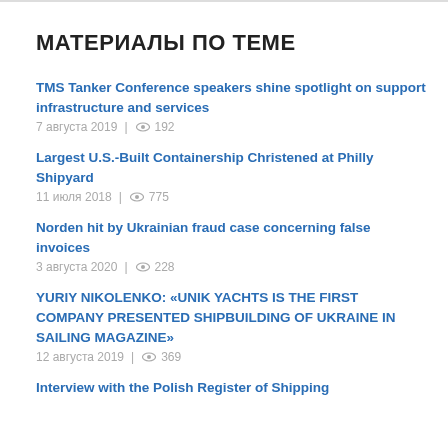МАТЕРИАЛЫ ПО ТЕМЕ
TMS Tanker Conference speakers shine spotlight on support infrastructure and services
7 августа 2019 | 192
Largest U.S.-Built Containership Christened at Philly Shipyard
11 июля 2018 | 775
Norden hit by Ukrainian fraud case concerning false invoices
3 августа 2020 | 228
YURIY NIKOLENKO: «UNIK YACHTS IS THE FIRST COMPANY PRESENTED SHIPBUILDING OF UKRAINE IN SAILING MAGAZINE»
12 августа 2019 | 369
Interview with the Polish Register of Shipping